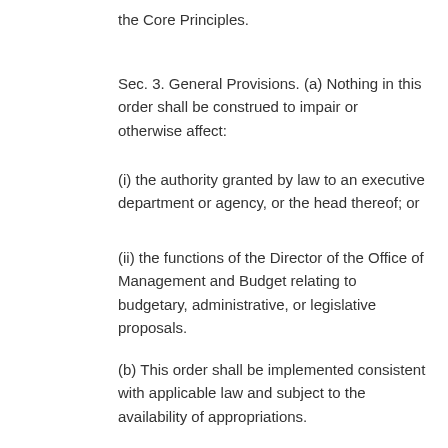the Core Principles.
Sec. 3. General Provisions. (a) Nothing in this order shall be construed to impair or otherwise affect:
(i) the authority granted by law to an executive department or agency, or the head thereof; or
(ii) the functions of the Director of the Office of Management and Budget relating to budgetary, administrative, or legislative proposals.
(b) This order shall be implemented consistent with applicable law and subject to the availability of appropriations.
(c) This order is not intended to, and does not, create any right or benefit, substantive or procedural, enforceable at law or in equity by any party against